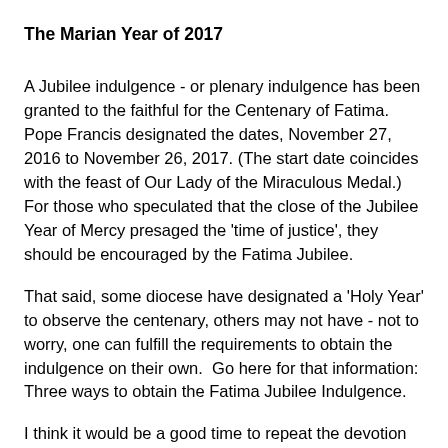The Marian Year of 2017
A Jubilee indulgence - or plenary indulgence has been granted to the faithful for the Centenary of Fatima.  Pope Francis designated the dates, November 27, 2016 to November 26, 2017. (The start date coincides with the feast of Our Lady of the Miraculous Medal.)  For those who speculated that the close of the Jubilee Year of Mercy presaged the 'time of justice', they should be encouraged by the Fatima Jubilee.
That said, some diocese have designated a 'Holy Year' to observe the centenary, others may not have - not to worry, one can fulfill the requirements to obtain the indulgence on their own.  Go here for that information: Three ways to obtain the Fatima Jubilee Indulgence.
I think it would be a good time to repeat the devotion of the Five First Saturdays, continue to pray the Rosary every day, and even renew our Total Consecration to Our Lady.  I'm